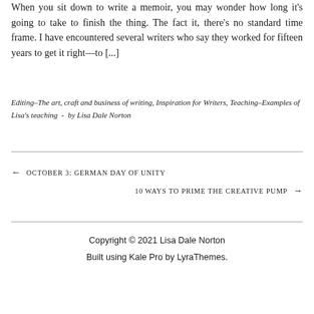When you sit down to write a memoir, you may wonder how long it's going to take to finish the thing. The fact it, there's no standard time frame. I have encountered several writers who say they worked for fifteen years to get it right—to [...]
Editing–The art, craft and business of writing, Inspiration for Writers, Teaching–Examples of Lisa's teaching  -  by Lisa Dale Norton
← OCTOBER 3: GERMAN DAY OF UNITY
10 WAYS TO PRIME THE CREATIVE PUMP →
Copyright © 2021 Lisa Dale Norton
Built using Kale Pro by LyraThemes.